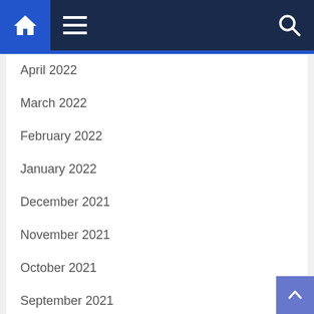Navigation bar with home, menu, and search icons
April 2022
March 2022
February 2022
January 2022
December 2021
November 2021
October 2021
September 2021
August 2021
July 2021
June 2021
May 2021
April 2021
March 2021